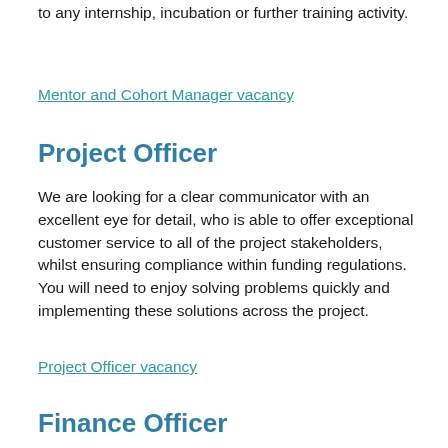to any internship, incubation or further training activity.
Mentor and Cohort Manager vacancy
Project Officer
We are looking for a clear communicator with an excellent eye for detail, who is able to offer exceptional customer service to all of the project stakeholders, whilst ensuring compliance within funding regulations. You will need to enjoy solving problems quickly and implementing these solutions across the project.
Project Officer vacancy
Finance Officer